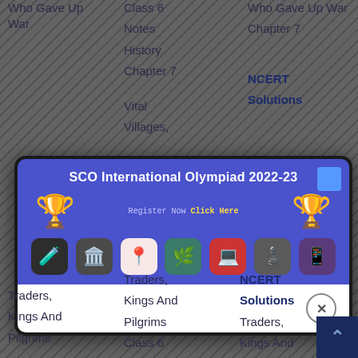Who Gave Up War
Class 6
Notes
History
Chapter 7
Who Gave Up War
Chapter 7
Vital
Villages,
NCERT
Solutions
[Figure (screenshot): SCO International Olympiad 2022-23 promotional popup banner with trophy icons, Register Now Click Here text, subject icons row, and a close button on white bottom section]
Traders,
Kings And
Pilgrims
Traders,
Kings And
Pilgrims
Class 6
Notes
NCERT
Solutions
Traders,
Kings And